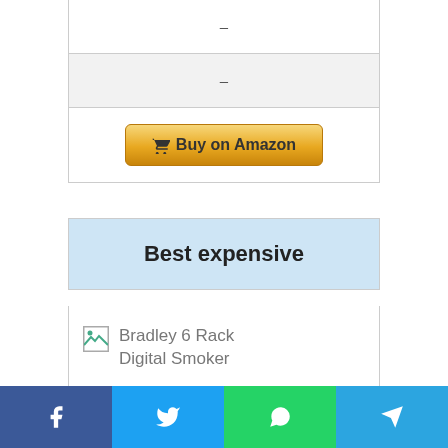| – |
| – |
🛒 Buy on Amazon
Best expensive
[Figure (photo): Broken image placeholder for Bradley 6 Rack Digital Smoker product image]
Bradley 6 Rack Digital Smoker
Social share bar: Facebook, Twitter, WhatsApp, Telegram